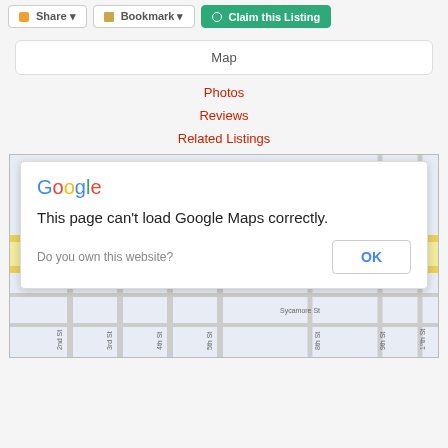[Figure (screenshot): Top navigation bar with Share, Bookmark, and Claim this Listing buttons]
Map
Photos
Reviews
Related Listings
[Figure (screenshot): Google Maps embed showing a dialog: 'This page can't load Google Maps correctly.' with 'Do you own this website?' and an OK button, overlaid on a map of Carrollton with street grid]